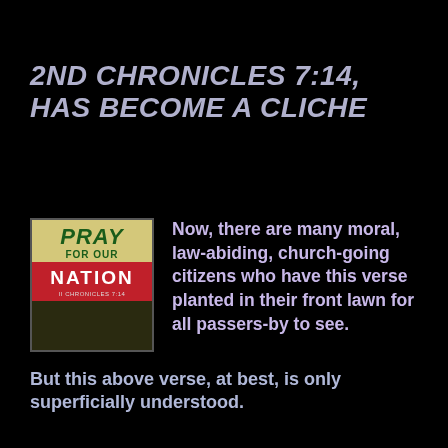2ND CHRONICLES 7:14, HAS BECOME A CLICHE
[Figure (photo): A yard sign reading 'PRAY FOR OUR NATION II CHRONICLES 7:14' with green text on yellow background and white text on red background]
Now, there are many moral, law-abiding, church-going citizens who have this verse planted in their front lawn for all passers-by to see.
But this above verse, at best, is only superficially understood.